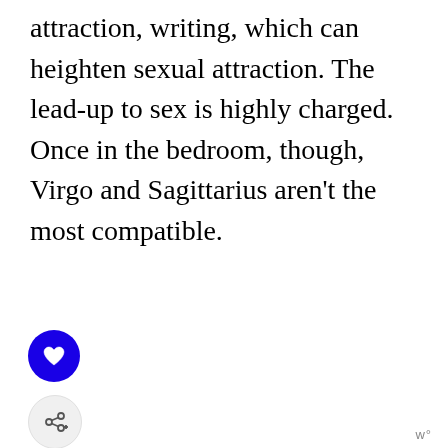attraction, writing, which can heighten sexual attraction. The lead-up to sex is highly charged. Once in the bedroom, though, Virgo and Sagittarius aren't the most compatible.
[Figure (other): Blue circular like/heart button and a light grey circular share button with share icon and plus sign]
w°